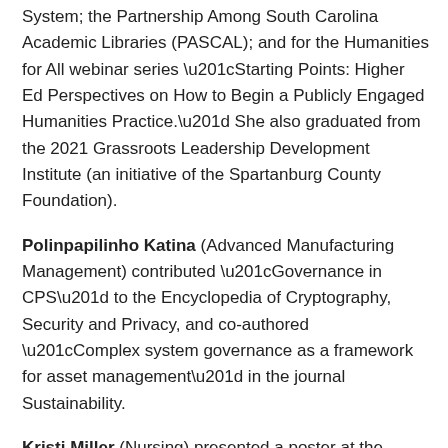System; the Partnership Among South Carolina Academic Libraries (PASCAL); and for the Humanities for All webinar series “Starting Points: Higher Ed Perspectives on How to Begin a Publicly Engaged Humanities Practice.” She also graduated from the 2021 Grassroots Leadership Development Institute (an initiative of the Spartanburg County Foundation).
Polinpapilinho Katina (Advanced Manufacturing Management) contributed “Governance in CPS” to the Encyclopedia of Cryptography, Security and Privacy, and co-authored “Complex system governance as a framework for asset management” in the journal Sustainability.
Kristi Miller (Nursing) presented a poster at the SCURS symposium in April on “Assessing Safety Culture in…